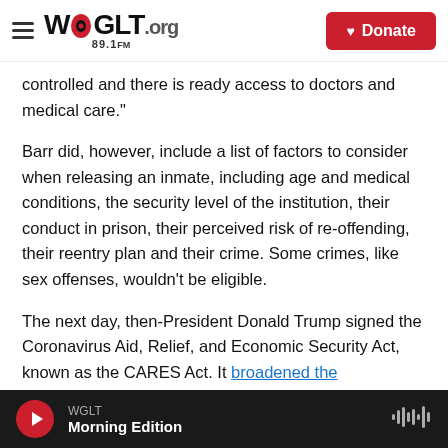WGLT.org 89.1FM | Donate
controlled and there is ready access to doctors and medical care."
Barr did, however, include a list of factors to consider when releasing an inmate, including age and medical conditions, the security level of the institution, their conduct in prison, their perceived risk of re-offending, their reentry plan and their crime. Some crimes, like sex offenses, wouldn't be eligible.
The next day, then-President Donald Trump signed the Coronavirus Aid, Relief, and Economic Security Act, known as the CARES Act. It broadened the
WGLT | Morning Edition